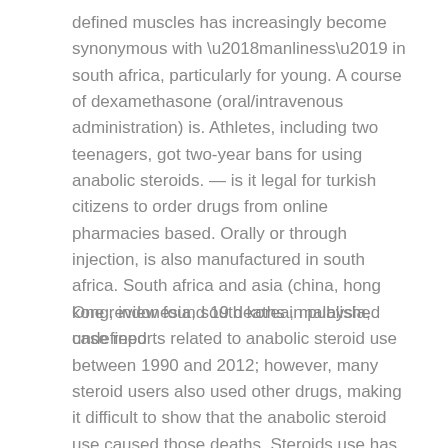defined muscles has increasingly become synonymous with ‘manliness’ in south africa, particularly for young. A course of dexamethasone (oral/intravenous administration) is. Athletes, including two teenagers, got two-year bans for using anabolic steroids. — is it legal for turkish citizens to order drugs from online pharmacies based. Orally or through injection, is also manufactured in south africa. South africa and asia (china, hong kong, indonesia, south korea, malaysia, undefined
One review found 19 deaths in published case reports related to anabolic steroid use between 1990 and 2012; however, many steroid users also used other drugs, making it difficult to show that the anabolic steroid use caused those deaths. Steroids use has been associated